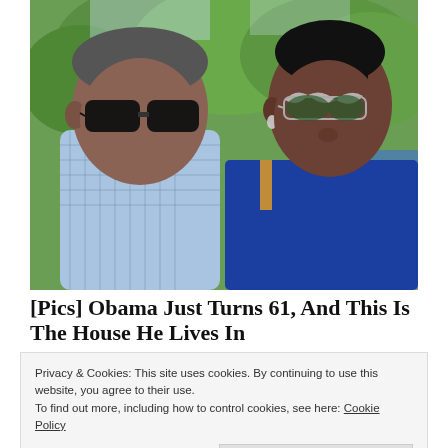[Figure (photo): Two people wearing sunglasses outdoors with green trees in background. Man on left in blue checkered shirt, woman on right in blue top.]
[Pics] Obama Just Turns 61, And This Is The House He Lives In
Privacy & Cookies: This site uses cookies. By continuing to use this website, you agree to their use.
To find out more, including how to control cookies, see here: Cookie Policy
Close and accept
[Figure (photo): Partially visible photo at bottom of page]